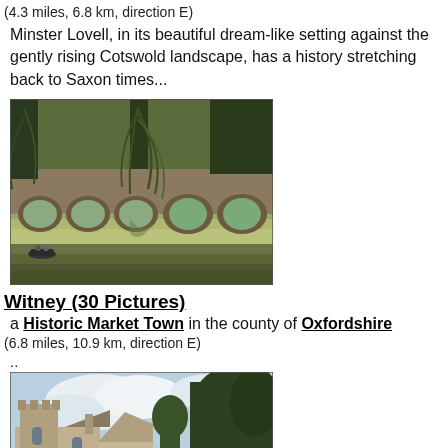(4.3 miles, 6.8 km, direction E)
Minster Lovell, in its beautiful dream-like setting against the gently rising Cotswold landscape, has a history stretching back to Saxon times...
[Figure (photo): Photo of a stone bridge with multiple arches over a river, with willow trees hanging over the water and a small rowing boat on the left]
Witney (30 Pictures)
a Historic Market Town in the county of Oxfordshire
(6.8 miles, 10.9 km, direction E)
..
[Figure (photo): Photo of a historic church tower and buildings in Witney with trees and a cloudy sky]